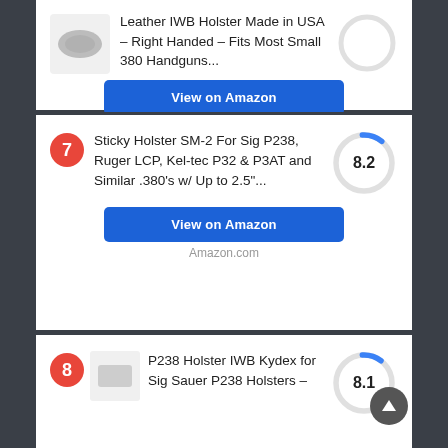Leather IWB Holster Made in USA - Right Handed - Fits Most Small 380 Handguns...
View on Amazon
Amazon.com
7 - Sticky Holster SM-2 For Sig P238, Ruger LCP, Kel-tec P32 & P3AT and Similar .380's w/ Up to 2.5"...
[Figure (other): Circular score ring showing 8.2 score with blue arc]
View on Amazon
Amazon.com
8 - P238 Holster IWB Kydex for Sig Sauer P238 Holsters -
[Figure (other): Circular score ring showing 8.1 score with blue arc]